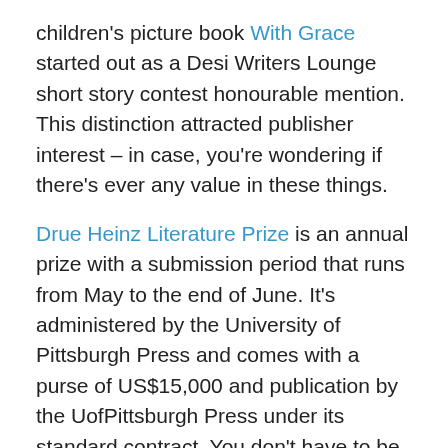children's picture book With Grace started out as a Desi Writers Lounge short story contest honourable mention. This distinction attracted publisher interest – in case, you're wondering if there's ever any value in these things.
Drue Heinz Literature Prize is an annual prize with a submission period that runs from May to the end of June. It's administered by the University of Pittsburgh Press and comes with a purse of US$15,000 and publication by the UofPittsburgh Press under its standard contract. You don't have to be a US citizen or resident to participate and there's no entry fee. The award is open to writers who have published a novel, a book-length collection of fiction, or a minimum of three short stories or novellas in commercial magazines or literary journals of national distribution. On-line publication and self-publication do not count toward this requirement. Eligible submission...